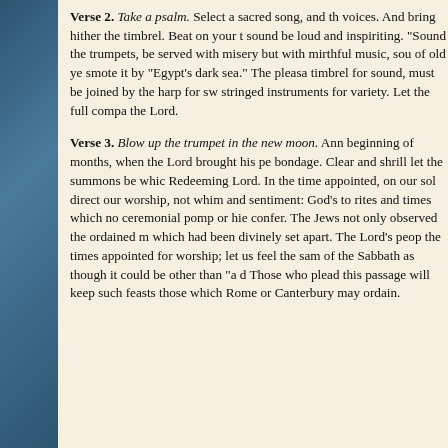Verse 2. Take a psalm. Select a sacred song, and th... voices. And bring hither the timbrel. Beat on your t... sound be loud and inspiriting. "Sound the trumpets.... be served with misery but with mirthful music, sou... of old ye smote it by "Egypt's dark sea." The pleasa... timbrel for sound, must be joined by the harp for sw... stringed instruments for variety. Let the full compa... the Lord.
Verse 3. Blow up the trumpet in the new moon. Ann... beginning of months, when the Lord brought his pe... bondage. Clear and shrill let the summons be whic... Redeeming Lord. In the time appointed, on our sol... direct our worship, not whim and sentiment: God's ... to rites and times which no ceremonial pomp or hie... confer. The Jews not only observed the ordained m... which had been divinely set apart. The Lord's peop... the times appointed for worship; let us feel the sam... of the Sabbath as though it could be other than "a d... Those who plead this passage will keep such feasts... those which Rome or Canterbury may ordain.